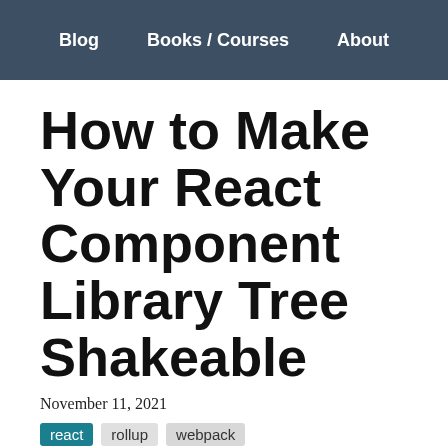Blog    Books / Courses    About
How to Make Your React Component Library Tree Shakeable
November 11, 2021
react
rollup
webpack
These days, it is pretty common for